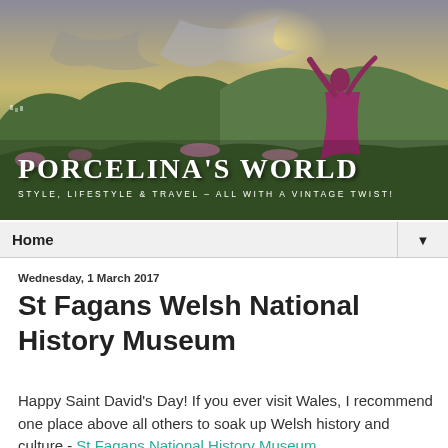[Figure (photo): Banner photo of a woman in a purple/magenta dress dancing on a hillside with mountains and dramatic sky in background, overlaid with blog title text 'PORCELINA'S WORLD' and subtitle 'STYLE, LIFESTYLE & TRAVEL – ALL WITH A VINTAGE TWIST!']
Home ▼
Wednesday, 1 March 2017
St Fagans Welsh National History Museum
Happy Saint David's Day!  If you ever visit Wales, I recommend one place above all others to soak up Welsh history and culture - St Fagans National History Museum